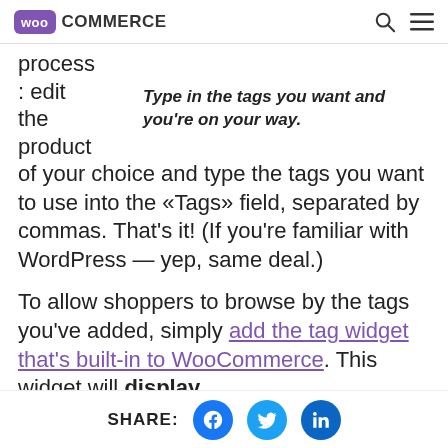WooCommerce
process : edit the product of your choice and type the tags you want to use into the «Tags» field, separated by commas. That's it! (If you're familiar with WordPress — yep, same deal.)
Type in the tags you want and you're on your way.
To allow shoppers to browse by the tags you've added, simply add the tag widget that's built-in to WooCommerce. This widget will display
SHARE: